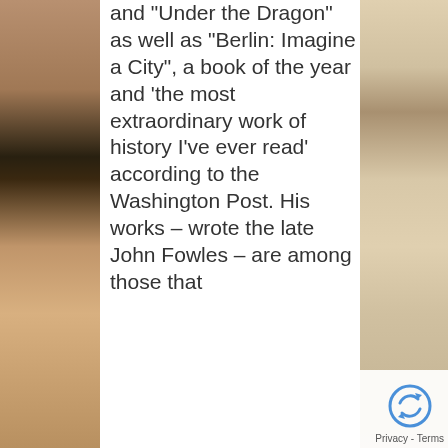[Figure (photo): Background photo of a person, partially visible on left and right sides, with a white column in the center containing text. Sepia/brown tones.]
and "Under the Dragon" as well as "Berlin: Imagine a City", a book of the year and 'the most extraordinary work of history I've ever read' according to the Washington Post. His works – wrote the late John Fowles – are among those that